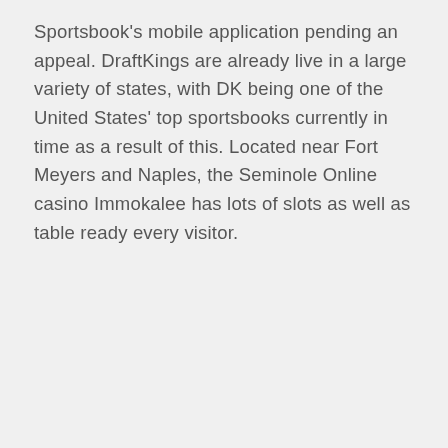Sportsbook's mobile application pending an appeal. DraftKings are already live in a large variety of states, with DK being one of the United States' top sportsbooks currently in time as a result of this. Located near Fort Meyers and Naples, the Seminole Online casino Immokalee has lots of slots as well as table ready every visitor.